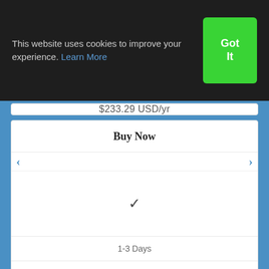This website uses cookies to improve your experience. Learn More
Got It
$233.29 USD/yr
Buy Now
✓
1-3 Days
Business & Ecommerce
USD $1,250,000